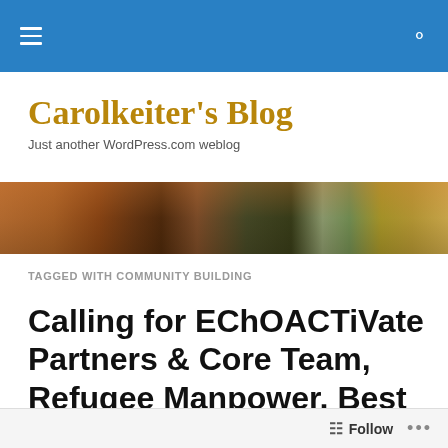Carolkeiter's Blog — Navigation bar
Carolkeiter's Blog
Just another WordPress.com weblog
[Figure (photo): Close-up photo of a person's face and hair in warm tones, serving as a hero/banner image for the blog]
TAGGED WITH COMMUNITY BUILDING
Calling for EChOACTiVate Partners & Core Team, Refugee Manpower, Best Weapon Is Education &
Follow ...